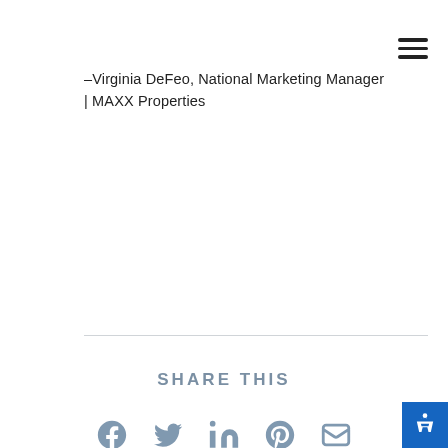-Virginia DeFeo, National Marketing Manager | MAXX Properties
SHARE THIS
[Figure (infographic): Social share icons: Facebook, Twitter, LinkedIn, Pinterest, Email]